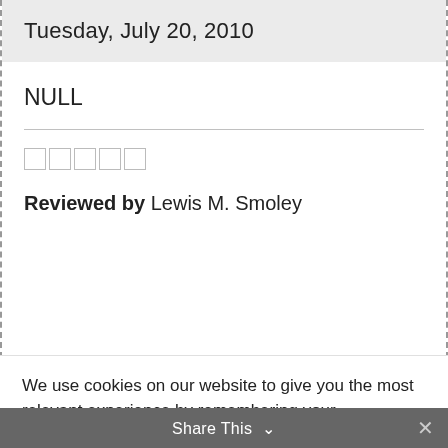Tuesday, July 20, 2010
NULL
☐☐☐☐☐
Reviewed by Lewis M. Smoley
We use cookies on our website to give you the most relevant experience by remembering your preferences and repeat visits. By clicking "Accept", you consent to the use of ALL the cookies.
Cookie settings
ACCEPT
Share This ∨  ✕